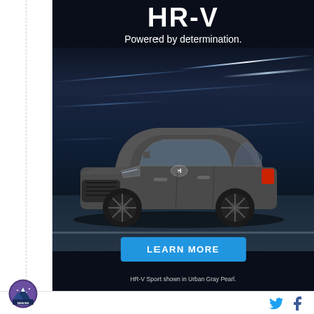[Figure (photo): Honda HR-V advertisement: Honda HR-V SUV in Urban Gray Pearl shown driving on a dark road with motion blur lighting streaks in background. Text reads 'HR-V Powered by determination.' with a blue 'LEARN MORE' button and footnote 'HR-V Sport shown in Urban Gray Pearl.']
[Figure (logo): Denver sports team circular logo with mountain and purple/blue colors]
[Figure (logo): Twitter bird icon in blue]
[Figure (logo): Facebook 'f' icon in dark blue]